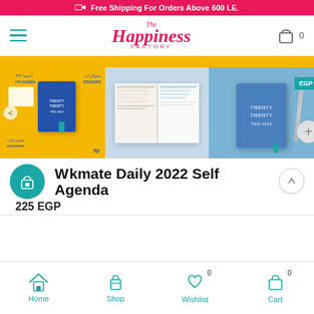Free Shipping For Orders Above 600 LE.
[Figure (logo): The Happiness Factory logo in pink cursive script with hamburger menu and shopping cart icon showing 0 items]
[Figure (photo): Three product images showing the Weekmate Daily 2022 Self Agenda notebook in blue with accessories on yellow background, open planner pages, and closed blue notebook. EGP price badge and plus button visible on right.]
Weekmate Daily 2022 Self Agenda
225 EGP
Home  Shop  Wishlist 0  Cart 0